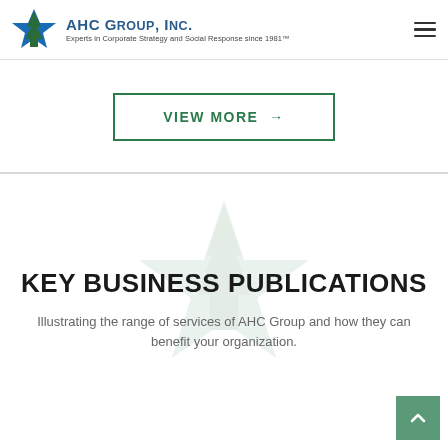AHC Group, Inc. — Experts in Corporate Strategy and Social Response since 1981™
VIEW MORE →
KEY BUSINESS PUBLICATIONS
Illustrating the range of services of AHC Group and how they can benefit your organization.